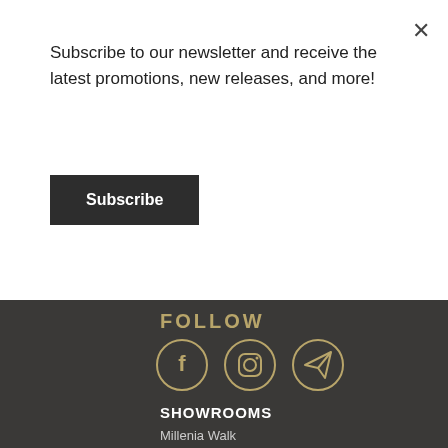Subscribe to our newsletter and receive the latest promotions, new releases, and more!
Subscribe
FOLLOW
[Figure (illustration): Three circular social media icons in gold: Facebook (f), Instagram (camera), and Telegram (paper plane)]
SHOWROOMS
Millenia Walk
9 Raffles Boulevard, #01-35, Singapore 039596
T: +65 8611 0888
Mon-Sun: 11:00 am – 8:00 pm
Public Holidays: 11:00 am – 8:00 pm
The Adelphi
1 Coleman Street, #01-01/10/21/22, #02-29, Singapore 179803